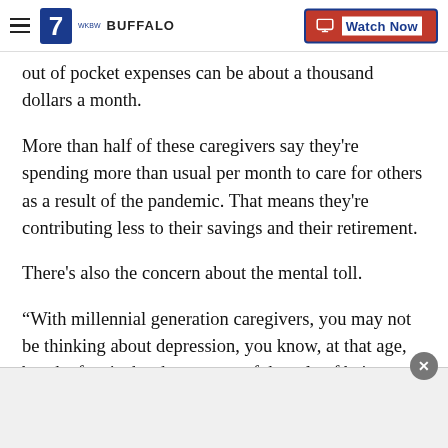WKBW BUFFALO | Watch Now
out of pocket expenses can be about a thousand dollars a month.
More than half of these caregivers say they're spending more than usual per month to care for others as a result of the pandemic. That means they're contributing less to their savings and their retirement.
There's also the concern about the mental toll.
“With millennial generation caregivers, you may not be thinking about depression, you know, at that age, but the fact is the sheer stress of the role of being a